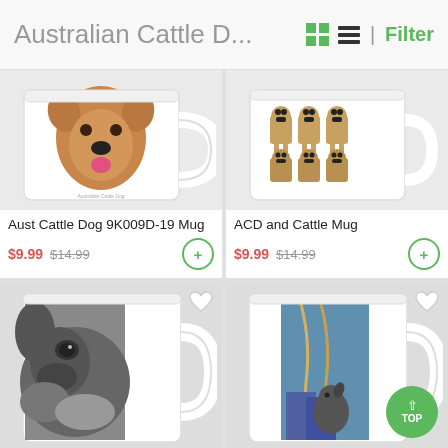Australian Cattle D... | Filter
[Figure (photo): White coffee mug with photo of Australian Cattle Dog face (red/brown dog) labeled 'Australian Cattle Dog']
[Figure (photo): White coffee mug with cartoon illustration of multiple Australian Cattle Dogs (tan/brown) standing together]
Aust Cattle Dog 9K009D-19 Mug
$9.99 $14.99
ACD and Cattle Mug
$9.99 $14.99
[Figure (photo): White coffee mug with black and white close-up photo of an Australian Cattle Dog face]
[Figure (photo): White coffee mug with artistic painting of an Australian Cattle Dog near cowboy boots and ropes]